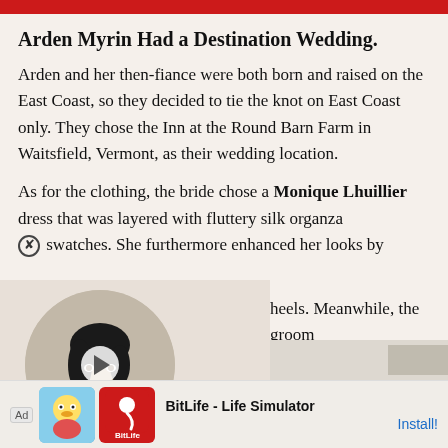Arden Myrin Had a Destination Wedding.
Arden and her then-fiance were both born and raised on the East Coast, so they decided to tie the knot on East Coast only. They chose the Inn at the Round Barn Farm in Waitsfield, Vermont, as their wedding location.
As for the clothing, the bride chose a Monique Lhuillier dress that was layered with fluttery silk organza swatches. She furthermore enhanced her looks by heels. Meanwhile, the groom Calvin Klein.
[Figure (photo): Video thumbnail showing a woman with short dark hair wearing a red top, inside a circular frame with a play button overlay. Background is beige/tan.]
Ad BitLife - Life Simulator Install!